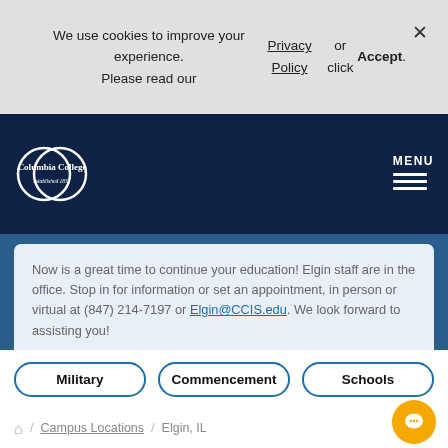We use cookies to improve your experience. Please read our Privacy Policy or click Accept.
[Figure (logo): Columbia College logo with two overlapping circles and text 'Columbia College established 1851' on dark navy background]
Now is a great time to continue your education! Elgin staff are in the office. Stop in for information or set an appointment, in person or virtual at (847) 214-7197 or Elgin@CCIS.edu. We look forward to assisting you!
Military
Commencement
Schools
Home / Campus Locations / Elgin, IL